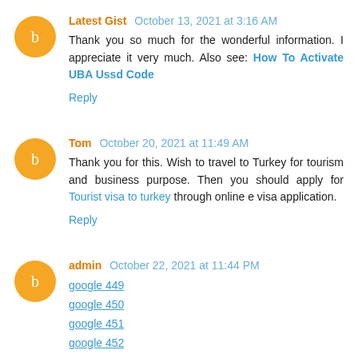Latest Gist October 13, 2021 at 3:16 AM
Thank you so much for the wonderful information. I appreciate it very much. Also see: How To Activate UBA Ussd Code
Reply
Tom October 20, 2021 at 11:49 AM
Thank you for this. Wish to travel to Turkey for tourism and business purpose. Then you should apply for Tourist visa to turkey through online e visa application.
Reply
admin October 22, 2021 at 11:44 PM
google 449
google 450
google 451
google 452